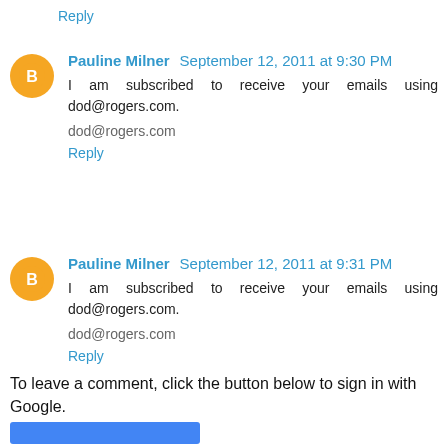Reply
Pauline Milner September 12, 2011 at 9:30 PM
I am subscribed to receive your emails using dod@rogers.com.

dod@rogers.com

Reply
Pauline Milner September 12, 2011 at 9:31 PM
I am subscribed to receive your emails using dod@rogers.com.

dod@rogers.com

Reply
To leave a comment, click the button below to sign in with Google.